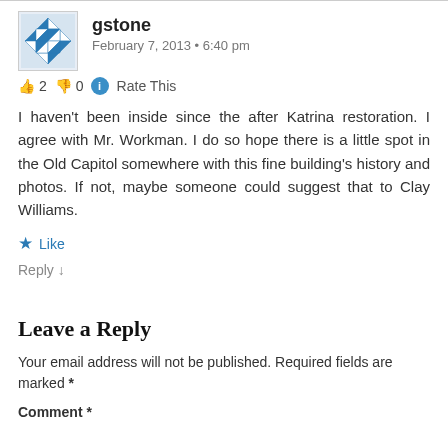[Figure (illustration): User avatar with blue and white geometric/snowflake pattern]
gstone
February 7, 2013 • 6:40 pm
👍 2 👎 0 ℹ Rate This
I haven't been inside since the after Katrina restoration. I agree with Mr. Workman. I do so hope there is a little spot in the Old Capitol somewhere with this fine building's history and photos. If not, maybe someone could suggest that to Clay Williams.
★ Like
Reply ↓
Leave a Reply
Your email address will not be published. Required fields are marked *
Comment *